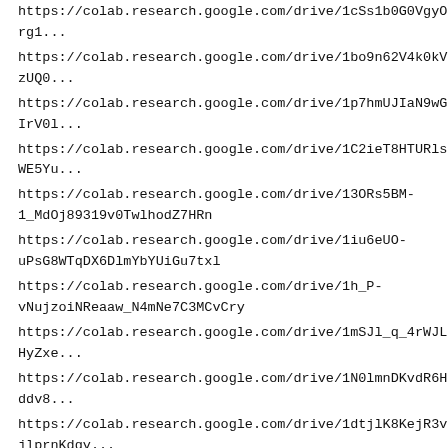https://colab.research.google.com/drive/1cSs1b0G0VgyOrg...
https://colab.research.google.com/drive/1bo9n62V4k0kVzUQ0...
https://colab.research.google.com/drive/1p7hmUJIaN9wGIrV0...
https://colab.research.google.com/drive/1C2ieT8HTURlsWE5Yu...
https://colab.research.google.com/drive/13ORs5BM-1_MdOj89319v0TwlhodZ7HRn
https://colab.research.google.com/drive/1iu6eUO-uPsG8WTqDX6DlmYbYUiGu7txl
https://colab.research.google.com/drive/1h_P-vNujzoiNReaaw_N4mNe7C3MCvCry
https://colab.research.google.com/drive/1mSJl_q_4rWJLHyZxe...
https://colab.research.google.com/drive/1N0lmnDKvdR6Hddv8...
https://colab.research.google.com/drive/1dtjlK8KejR3vjlprnKdgy...
https://colab.research.google.com/drive/1auvq0SB552FTtMOkR0...
RobertRal - 2022-08-12 18:45:42
https://colab.research.google.com/drive/1QPsr3kyYZZR-joIkybR_QgP8dUaGvds1
https://colab.research.google.com/drive/1laNv76i0ATB-...